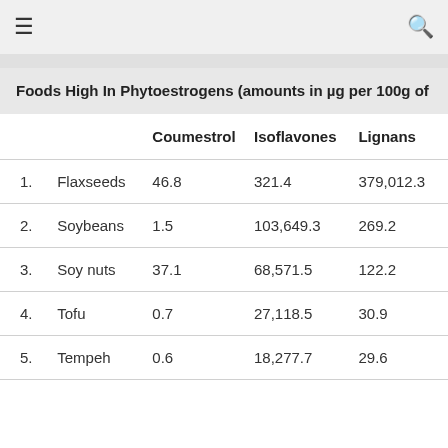≡  🔍
Foods High In Phytoestrogens (amounts in µg per 100g of
|  |  | Coumestrol | Isoflavones | Lignans |
| --- | --- | --- | --- | --- |
| 1. | Flaxseeds | 46.8 | 321.4 | 379,012.3 |
| 2. | Soybeans | 1.5 | 103,649.3 | 269.2 |
| 3. | Soy nuts | 37.1 | 68,571.5 | 122.2 |
| 4. | Tofu | 0.7 | 27,118.5 | 30.9 |
| 5. | Tempeh | 0.6 | 18,277.7 | 29.6 |